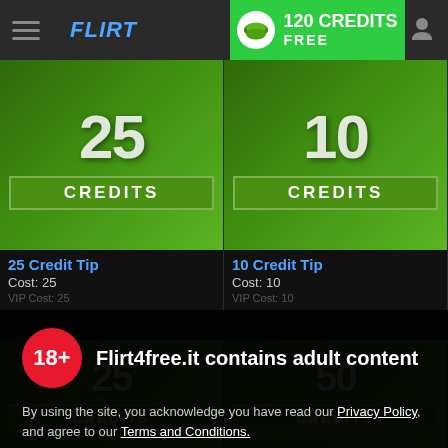FLIRT4FREE — 120 CREDITS FREE
[Figure (illustration): 25 Credits green money-style badge]
25 Credit Tip
Cost: 25
VIP Cost: 25
[Figure (illustration): 10 Credits green money-style badge]
10 Credit Tip
Cost: 10
VIP Cost: 10
Flirt4free.it contains adult content
By using the site, you acknowledge you have read our Privacy Policy, and agree to our Terms and Conditions.
We use cookies to optimize your experience, analyze traffic, and deliver more personalized service. To learn more, please see our Privacy Policy.
I AGREE